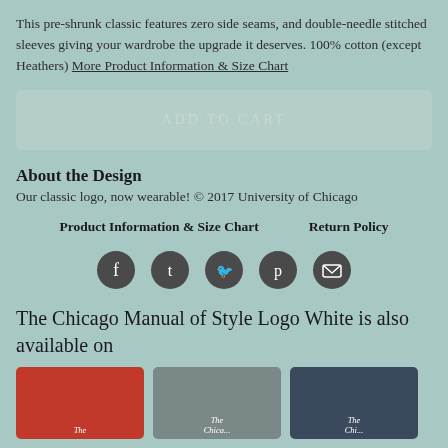This pre-shrunk classic features zero side seams, and double-needle stitched sleeves giving your wardrobe the upgrade it deserves. 100% cotton (except Heathers) More Product Information & Size Chart
[Figure (other): ADD TO CART button, greyed out/disabled, light teal rounded rectangle]
About the Design
Our classic logo, now wearable! © 2017 University of Chicago
Product Information & Size Chart      Return Policy
[Figure (other): Row of 5 social media icons (Facebook, Tumblr, Twitter, Pinterest, Email) as dark circular icon buttons]
The Chicago Manual of Style Logo White is also available on
[Figure (photo): Three product thumbnail images: red t-shirt, gray t-shirt worn by man, navy t-shirt worn by woman, each showing The Chicago Manual of Style logo]